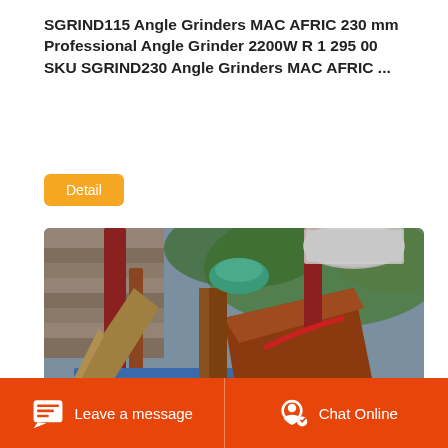SGRIND115 Angle Grinders MAC AFRIC 230 mm Professional Angle Grinder 2200W R 1 295 00 SKU SGRIND230 Angle Grinders MAC AFRIC ...
Detail
[Figure (photo): Photograph of industrial angle grinder equipment outdoors, showing rusty metal components, blue basin, and gravel, with a rocket/launch icon badge overlay in bottom-right corner of image.]
Leave a message
Chat Online